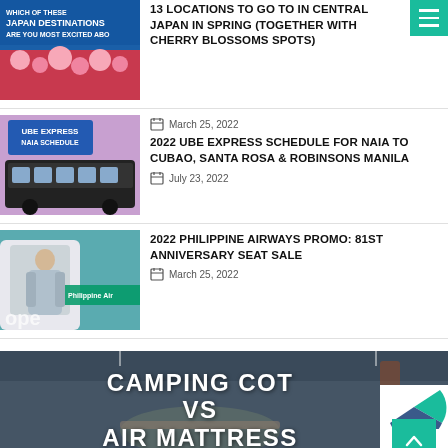[Figure (photo): Japan destinations promotional image with cherry blossoms]
13 LOCATIONS TO GO TO IN CENTRAL JAPAN IN SPRING (TOGETHER WITH CHERRY BLOSSOMS SPOTS)
[Figure (photo): UBE Express bus at NAIA airport with schedule text overlay]
March 25, 2022
2022 UBE EXPRESS SCHEDULE FOR NAIA TO CUBAO, SANTA ROSA & ROBINSONS MANILA
July 23, 2022
[Figure (photo): Philippine Airlines plane door open with passenger]
2022 PHILIPPINE AIRWAYS PROMO: 81ST ANNIVERSARY SEAT SALE
March 25, 2022
[Figure (photo): Camping cot vs air mattress comparison banner image]